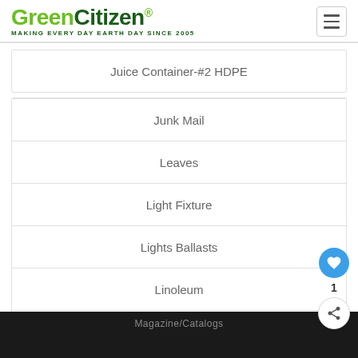GreenCitizen® MAKING EVERY DAY EARTH DAY SINCE 2005
Juice Container-#2 HDPE
Junk Mail
Leaves
Light Fixture
Lights Ballasts
Linoleum
Lumber